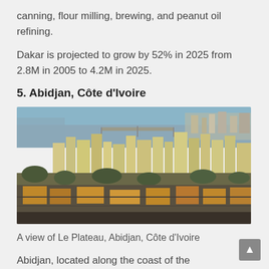canning, flour milling, brewing, and peanut oil refining.
Dakar is projected to grow by 52% in 2025 from 2.8M in 2005 to 4.2M in 2025.
5. Abidjan, Côte d'Ivoire
[Figure (photo): Aerial view of Le Plateau district in Abidjan, Côte d'Ivoire, showing city buildings, waterway/lagoon, bridge, and surrounding urban areas with trees]
A view of Le Plateau, Abidjan, Côte d'Ivoire
Abidjan, located along the coast of the